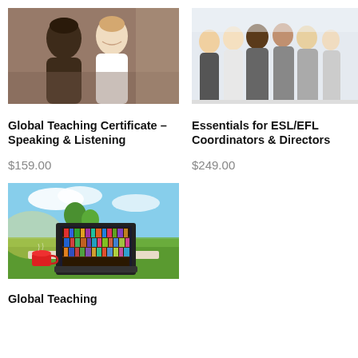[Figure (photo): Two women smiling and talking in a classroom setting]
[Figure (photo): Group of professional adults standing together looking upward]
Global Teaching Certificate – Speaking & Listening
$159.00
Essentials for ESL/EFL Coordinators & Directors
$249.00
[Figure (photo): Laptop on a table outdoors in a green field with a red mug, showing a bookshelf on screen]
Global Teaching